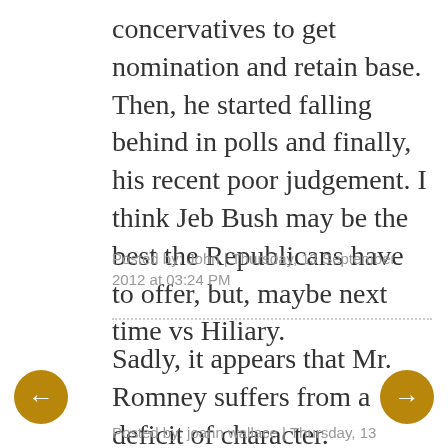concervatives to get nomination and retain base. Then, he started falling behind in polls and finally, his recent poor judgement. I think Jeb Bush may be the best the Republicans have to offer, but, maybe next time vs Hiliary.
Posted by: John | Thursday, 13 September 2012 at 03:24 PM
Sadly, it appears that Mr. Romney suffers from a deficit of character.
Posted by: joann wallace | Thursday, 13 September